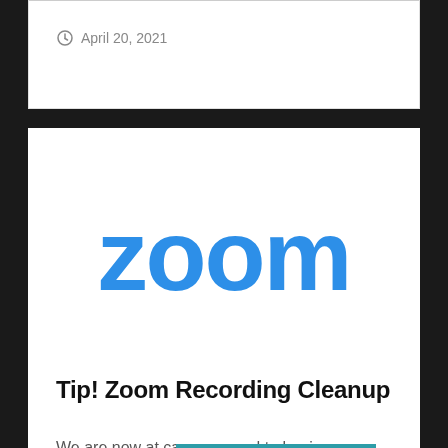April 20, 2021
[Figure (logo): Zoom logo in blue on white background]
Tip! Zoom Recording Cleanup
We are now at ca[pacity and need] to begin removing old Zoo[m recor]dings older than
Menu